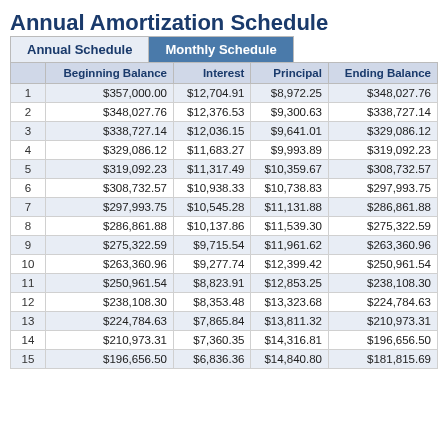Annual Amortization Schedule
|  | Beginning Balance | Interest | Principal | Ending Balance |
| --- | --- | --- | --- | --- |
| 1 | $357,000.00 | $12,704.91 | $8,972.25 | $348,027.76 |
| 2 | $348,027.76 | $12,376.53 | $9,300.63 | $338,727.14 |
| 3 | $338,727.14 | $12,036.15 | $9,641.01 | $329,086.12 |
| 4 | $329,086.12 | $11,683.27 | $9,993.89 | $319,092.23 |
| 5 | $319,092.23 | $11,317.49 | $10,359.67 | $308,732.57 |
| 6 | $308,732.57 | $10,938.33 | $10,738.83 | $297,993.75 |
| 7 | $297,993.75 | $10,545.28 | $11,131.88 | $286,861.88 |
| 8 | $286,861.88 | $10,137.86 | $11,539.30 | $275,322.59 |
| 9 | $275,322.59 | $9,715.54 | $11,961.62 | $263,360.96 |
| 10 | $263,360.96 | $9,277.74 | $12,399.42 | $250,961.54 |
| 11 | $250,961.54 | $8,823.91 | $12,853.25 | $238,108.30 |
| 12 | $238,108.30 | $8,353.48 | $13,323.68 | $224,784.63 |
| 13 | $224,784.63 | $7,865.84 | $13,811.32 | $210,973.31 |
| 14 | $210,973.31 | $7,360.35 | $14,316.81 | $196,656.50 |
| 15 | $196,656.50 | $6,836.36 | $14,840.80 | $181,815.69 |